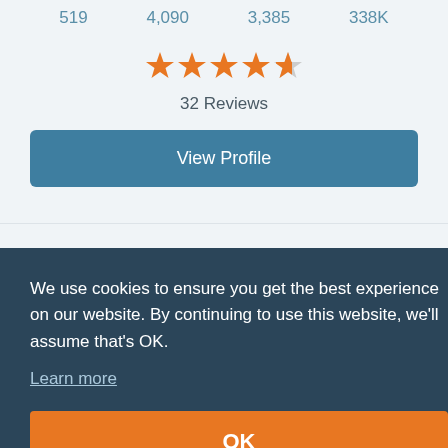519  4,090  3,385  338K
[Figure (other): Star rating showing 4.5 out of 5 stars in orange]
32 Reviews
View Profile
We use cookies to ensure you get the best experience on our website. By continuing to use this website, we'll assume that's OK.
Learn more
OK
72
View Profile